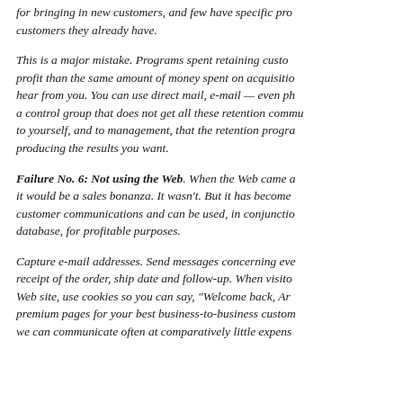for bringing in new customers, and few have specific programs for the customers they already have.
This is a major mistake. Programs spent retaining customers generate more profit than the same amount of money spent on acquisition. Customers love to hear from you. You can use direct mail, e-mail — even phone. But set up a control group that does not get all these retention communications, so you can prove to yourself, and to management, that the retention program is producing the results you want.
Failure No. 6: Not using the Web. When the Web came along, everyone thought it would be a sales bonanza. It wasn't. But it has become very useful for customer communications and can be used, in conjunction with your database, for profitable purposes.
Capture e-mail addresses. Send messages concerning every order: receipt of the order, ship date and follow-up. When visitors return to your Web site, use cookies so you can say, "Welcome back, Arthur." Set up premium pages for your best business-to-business customers. The Web lets we can communicate often at comparatively little expense.